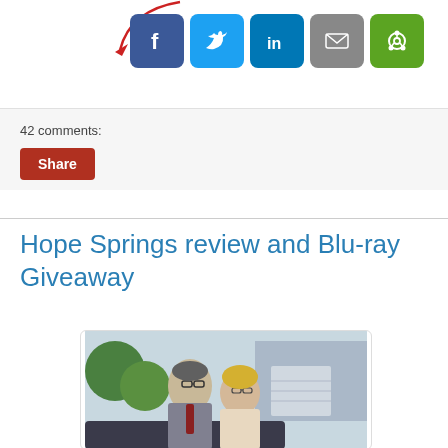[Figure (illustration): Red hand-drawn arrow pointing down to social share buttons]
[Figure (infographic): Row of social media share icon buttons: Facebook (blue), Twitter (light blue), LinkedIn (dark blue), Email (grey), and a green sharing icon]
42 comments:
Share
Hope Springs review and Blu-ray Giveaway
[Figure (photo): A man in glasses wearing a suit with a red tie and a smiling woman with blonde hair and glasses, standing next to a car outdoors with a house in the background]